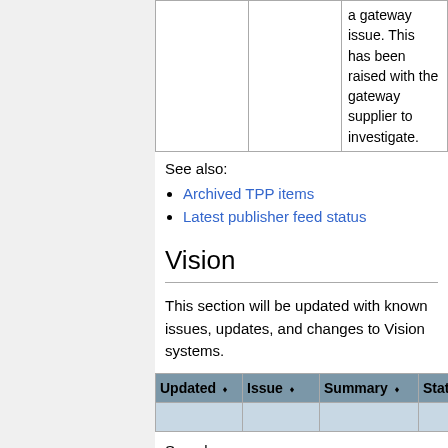|  |  |  |  |
| --- | --- | --- | --- |
|  |  | a gateway issue. This has been raised with the gateway supplier to investigate. |  |
See also:
Archived TPP items
Latest publisher feed status
Vision
This section will be updated with known issues, updates, and changes to Vision systems.
| Updated | Issue | Summary | Status |
| --- | --- | --- | --- |
|  |
See also: